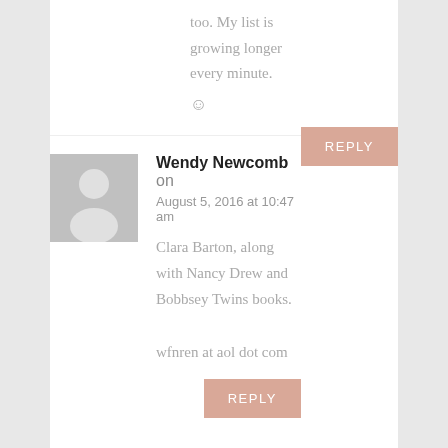too. My list is growing longer every minute.
☺
REPLY
Wendy Newcomb on August 5, 2016 at 10:47 am
Clara Barton, along with Nancy Drew and Bobbsey Twins books.

wfnren at aol dot com
REPLY